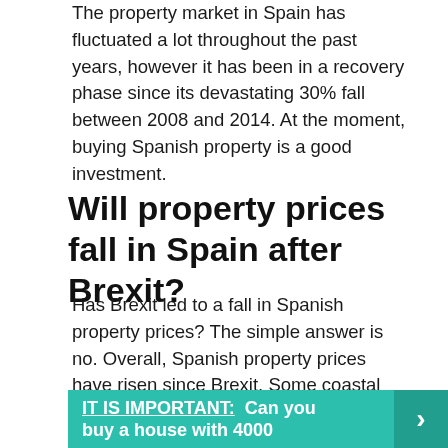The property market in Spain has fluctuated a lot throughout the past years, however it has been in a recovery phase since its devastating 30% fall between 2008 and 2014. At the moment, buying Spanish property is a good investment.
Will property prices fall in Spain after Brexit?
Has Brexit led to a fall in Spanish property prices? The simple answer is no. Overall, Spanish property prices have risen since Brexit. Some coastal areas have seen a decline in demand from British buyers.
IT IS IMPORTANT:  Can you buy a house with 4000...